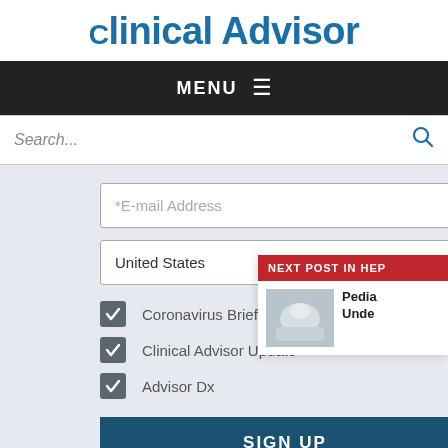Clinical Advisor
MENU
Search...
*E-mail Address
United States
Coronavirus Briefing
Clinical Advisor Update
Advisor Dx
SIGN UP
Privacy Policy | Terms & Conditions
NEXT POST IN HEP
Pedia... Unde...